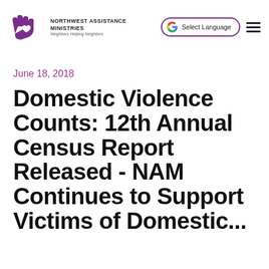Northwest Assistance Ministries – Neighbors Helping Neighbors
June 18, 2018
Domestic Violence Counts: 12th Annual Census Report Released - NAM Continues to Support Victims of Domestic...